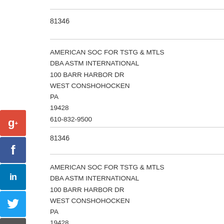81346
AMERICAN SOC FOR TSTG & MTLS
DBA ASTM INTERNATIONAL
100 BARR HARBOR DR
WEST CONSHOHOCKEN
PA
19428
610-832-9500
81346
AMERICAN SOC FOR TSTG & MTLS
DBA ASTM INTERNATIONAL
100 BARR HARBOR DR
WEST CONSHOHOCKEN
PA
19428